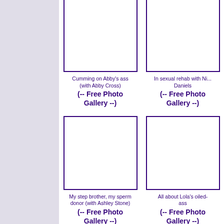[Figure (other): Thumbnail image placeholder top-left]
Cumming on Abby's ass (with Abby Cross)
(-- Free Photo Gallery --)
[Figure (other): Thumbnail image placeholder top-right]
In sexual rehab with Ni... Daniels
(-- Free Photo Gallery --)
[Figure (other): Thumbnail image placeholder middle-left]
My step brother, my sperm donor (with Ashley Stone)
(-- Free Photo Gallery --)
[Figure (other): Thumbnail image placeholder middle-right]
All about Lola's oiled- ass
(-- Free Photo Gallery --)
[Figure (other): Thumbnail image placeholder bottom-left]
I hope you have a big load for me! (with Brooke Wylde)
[Figure (other): Thumbnail image placeholder bottom-right]
My new boss makes m... eat my cum (with Nad... Styles)